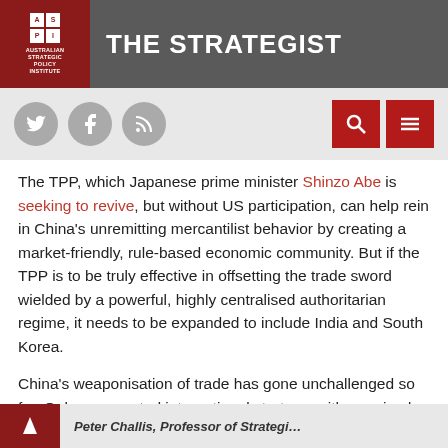THE STRATEGIST — Australian Strategic Policy Institute
The TPP, which Japanese prime minister Shinzo Abe is seeking to revive, but without US participation, can help rein in China's unremitting mercantilist behavior by creating a market-friendly, rule-based economic community. But if the TPP is to be truly effective in offsetting the trade sword wielded by a powerful, highly centralised authoritarian regime, it needs to be expanded to include India and South Korea.
China's weaponisation of trade has gone unchallenged so far. Only a concerted international strategy, with a revived TPP an essential component, stands a chance of compelling China's leaders to play by the rules.
Peter Challis, Professor of Strategic…